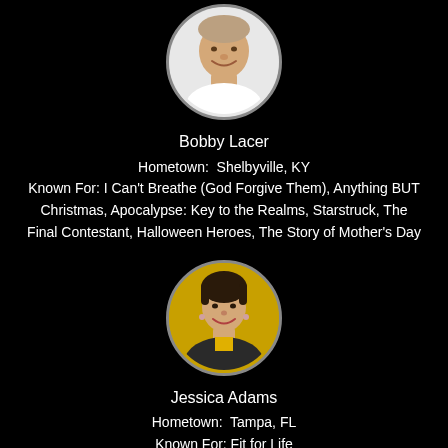[Figure (photo): Circular headshot photo of Bobby Lacer, a middle-aged man smiling, wearing white, against a white background]
Bobby Lacer
Hometown:  Shelbyville, KY
Known For: I Can't Breathe (God Forgive Them), Anything BUT Christmas, Apocalypse: Key to the Realms, Starstruck, The Final Contestant, Halloween Heroes, The Story of Mother's Day
[Figure (photo): Circular headshot photo of Jessica Adams, a woman with short dark hair, wearing a black jacket over yellow top, against a yellow background]
Jessica Adams
Hometown:  Tampa, FL
Known For: Fit for Life